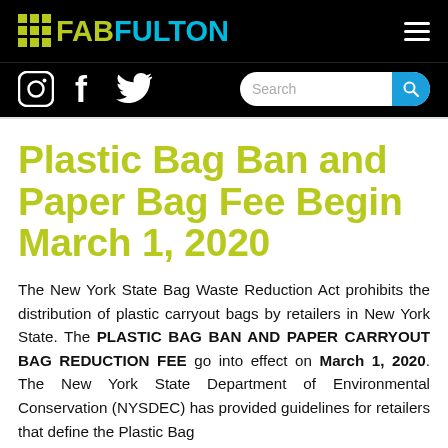FABFULTON
Plastic Bag Ban and Paper Bag Fee Begin March 1, 2020
The New York State Bag Waste Reduction Act prohibits the distribution of plastic carryout bags by retailers in New York State. The PLASTIC BAG BAN AND PAPER CARRYOUT BAG REDUCTION FEE go into effect on March 1, 2020. The New York State Department of Environmental Conservation (NYSDEC) has provided guidelines for retailers that define the Plastic Bag